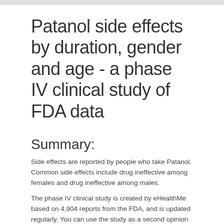Patanol side effects by duration, gender and age - a phase IV clinical study of FDA data
Summary:
Side effects are reported by people who take Patanol. Common side effects include drug ineffective among females and drug ineffective among males.
The phase IV clinical study is created by eHealthMe based on 4,904 reports from the FDA, and is updated regularly. You can use the study as a second opinion